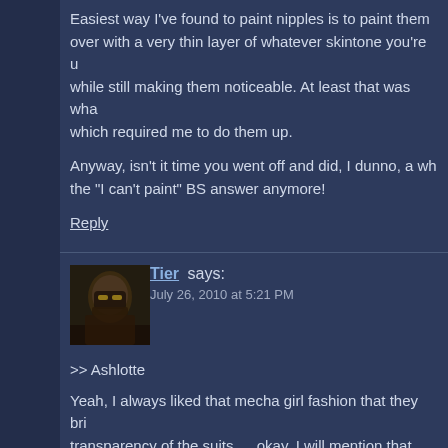Easiest way I've found to paint nipples is to paint them over with a very thin layer of whatever skintone you're u while still making them noticeable. At least that was wha which required me to do them up.
Anyway, isn't it time you went off and did, I dunno, a wh the "I can't paint" BS answer anymore!
Reply
[Figure (photo): Avatar image of commenter Tier, showing a dark masked/armored figure]
Tier says:
July 26, 2010 at 5:21 PM
>> Ashlotte
Yeah, I always liked that mecha girl fashion that they bri transparency of the suits … okay, I will mention that, bec awesome fashion decision and one of the things that ma Evangelion people kinda tried to do that with the test sui